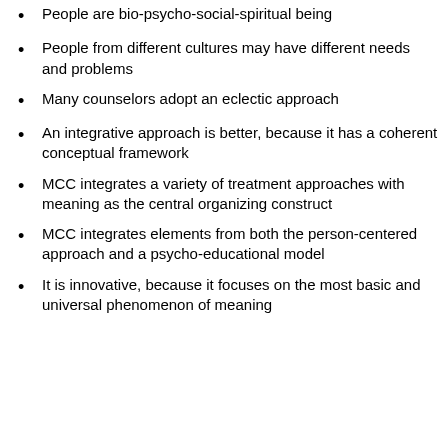People are bio-psycho-social-spiritual being
People from different cultures may have different needs and problems
Many counselors adopt an eclectic approach
An integrative approach is better, because it has a coherent conceptual framework
MCC integrates a variety of treatment approaches with meaning as the central organizing construct
MCC integrates elements from both the person-centered approach and a psycho-educational model
It is innovative, because it focuses on the most basic and universal phenomenon of meaning